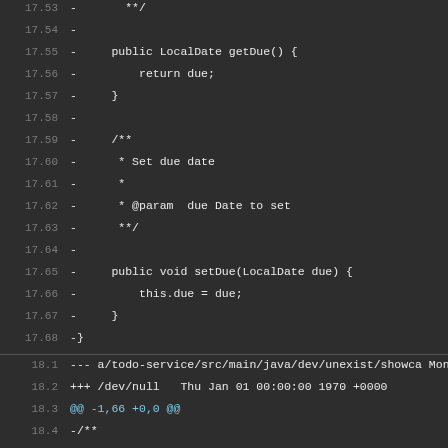[Figure (screenshot): Code diff view showing Java source file changes with line numbers, removed lines (prefixed with -), file headers, and hunk markers on a dark background.]